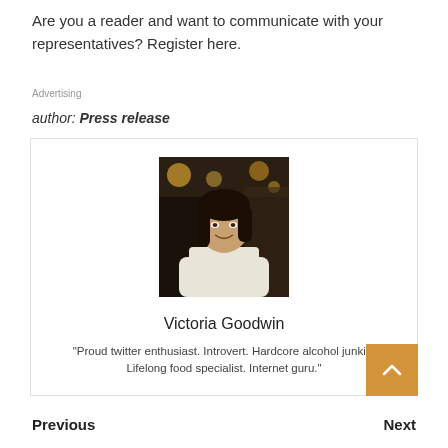Are you a reader and want to communicate with your representatives? Register here.
Advertising
author: Press release
[Figure (photo): Author profile photo of Victoria Goodwin, a young woman smiling in a restaurant setting with warm lights in the background, wearing a white top.]
Victoria Goodwin
"Proud twitter enthusiast. Introvert. Hardcore alcohol junkie. Lifelong food specialist. Internet guru."
Previous    Next